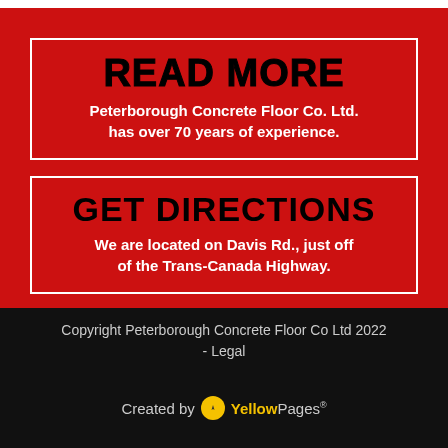READ MORE
Peterborough Concrete Floor Co. Ltd. has over 70 years of experience.
GET DIRECTIONS
We are located on Davis Rd., just off of the Trans-Canada Highway.
Copyright Peterborough Concrete Floor Co Ltd 2022 - Legal
Created by YellowPages